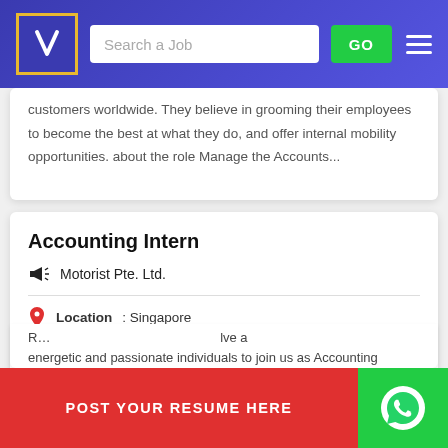[Figure (screenshot): Job portal website header with logo, search bar, GO button, and hamburger menu on blue gradient background]
customers worldwide. They believe in grooming their employees to become the best at what they do, and offer internal mobility opportunities. about the role Manage the Accounts...
Accounting Intern
Motorist Pte. Ltd.
Location : Singapore
State :
Industry : Computers / IT
POST YOUR RESUME HERE
energetic and passionate individuals to join us as Accounting